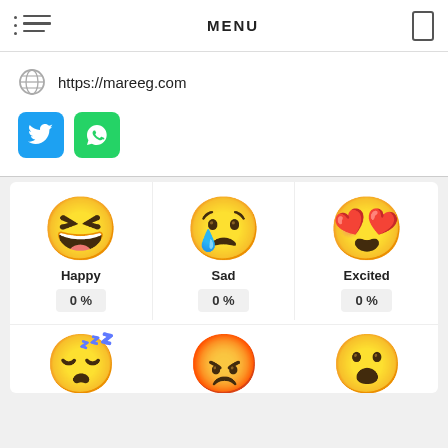MENU
https://mareeg.com
[Figure (screenshot): Twitter and WhatsApp social share buttons]
[Figure (infographic): Emoji reaction buttons grid showing Happy (0%), Sad (0%), Excited (0%) and partially visible Sleepy, Angry, Surprised emojis]
Happy  0 %
Sad  0 %
Excited  0 %